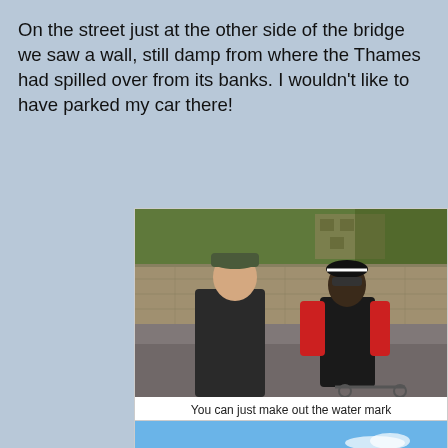On the street just at the other side of the bridge we saw a wall, still damp from where the Thames had spilled over from its banks. I wouldn't like to have parked my car there!
[Figure (photo): Two men walking on a street beside a stone wall with trees and a brick building in the background. One man wears a dark jacket and cap, the other wears a red long-sleeve shirt and black vest and appears to be on a bicycle.]
You can just make out the water mark
[Figure (photo): Partial view of a blue sky with a small white cloud visible at the bottom of the frame.]